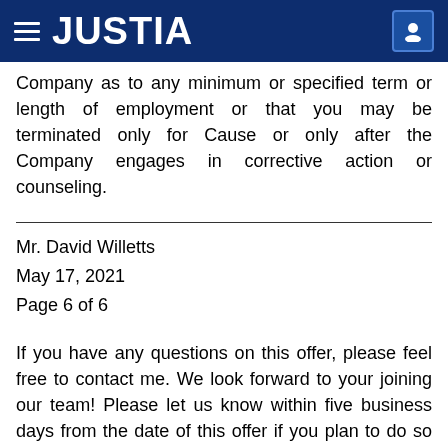JUSTIA
Company as to any minimum or specified term or length of employment or that you may be terminated only for Cause or only after the Company engages in corrective action or counseling.
Mr. David Willetts
May 17, 2021
Page 6 of 6
If you have any questions on this offer, please feel free to contact me. We look forward to your joining our team! Please let us know within five business days from the date of this offer if you plan to do so as set forth in this letter.